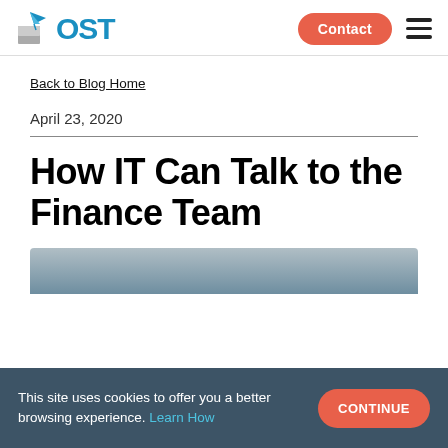[Figure (logo): OST logo with paper plane icon and blue text]
Back to Blog Home
April 23, 2020
How IT Can Talk to the Finance Team
[Figure (photo): Partial image preview visible at bottom of page]
This site uses cookies to offer you a better browsing experience. Learn How